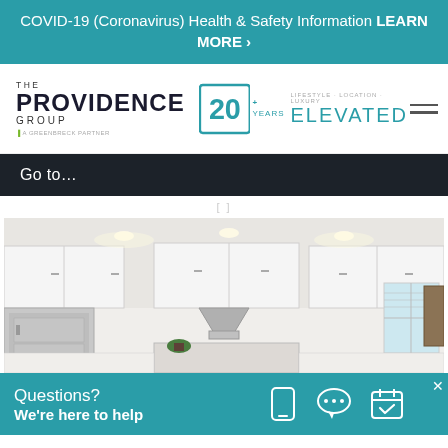COVID-19 (Coronavirus) Health & Safety Information LEARN MORE ›
[Figure (logo): The Providence Group logo with '20+ Years Elevated' badge and hamburger menu]
Go to…
[Figure (photo): Interior kitchen photo showing white cabinets, stainless steel range hood, refrigerator, and recessed lighting]
Questions? We're here to help